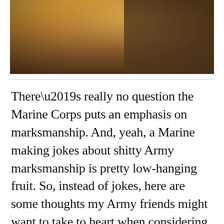[Figure (photo): Partial photo of a military figure, warm golden/amber tones with backlight, showing lower body and gear detail against a bright background.]
There’s really no question the Marine Corps puts an emphasis on marksmanship. And, yeah, a Marine making jokes about shitty Army marksmanship is pretty low-hanging fruit. So, instead of jokes, here are some thoughts my Army friends might want to take to heart when considering how to improve marksmanship.